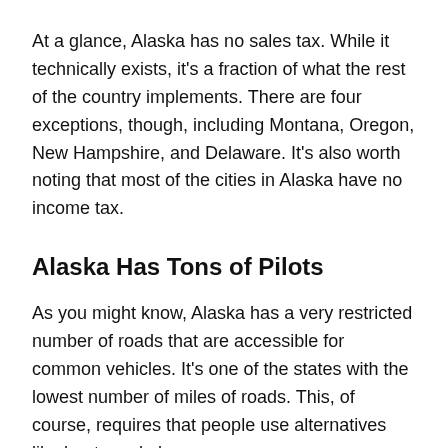At a glance, Alaska has no sales tax. While it technically exists, it's a fraction of what the rest of the country implements. There are four exceptions, though, including Montana, Oregon, New Hampshire, and Delaware. It's also worth noting that most of the cities in Alaska have no income tax.
Alaska Has Tons of Pilots
As you might know, Alaska has a very restricted number of roads that are accessible for common vehicles. It's one of the states with the lowest number of miles of roads. This, of course, requires that people use alternatives like boats and planes.
This is probably why there are so many pilots in Alaska